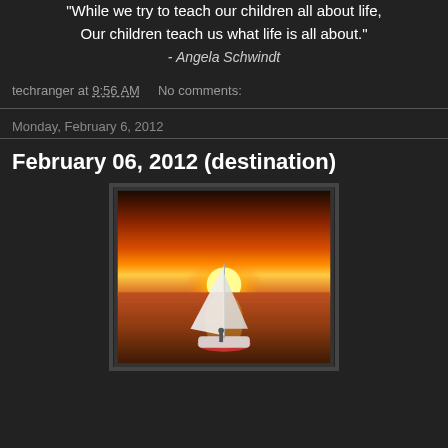“While we try to teach our children all about life, Our children teach us what life is all about.” - Angela Schwindt
techranger at 9:56 AM   No comments:
Monday, February 6, 2012
February 06, 2012 (destination)
[Figure (photo): A sailboat on calm water during a vivid orange and red sunset, with the sun glowing brightly above the horizon behind the sail.]